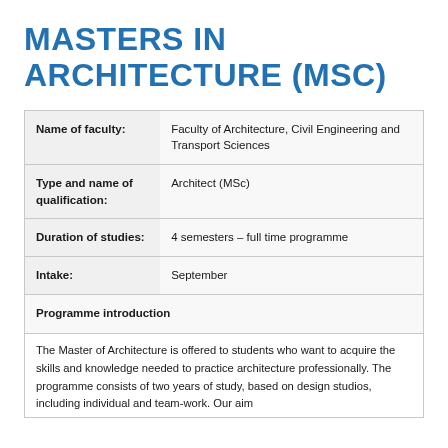MASTERS IN ARCHITECTURE (MSC)
| Name of faculty: | Faculty of Architecture, Civil Engineering and Transport Sciences |
| Type and name of qualification: | Architect (MSc) |
| Duration of studies: | 4 semesters – full time programme |
| Intake: | September |
| Programme introduction |  |
| The Master of Architecture is offered to students who want to acquire the skills and knowledge needed to practice architecture professionally. The programme consists of two years of study, based on design studios, including individual and team-work. Our aim |  |